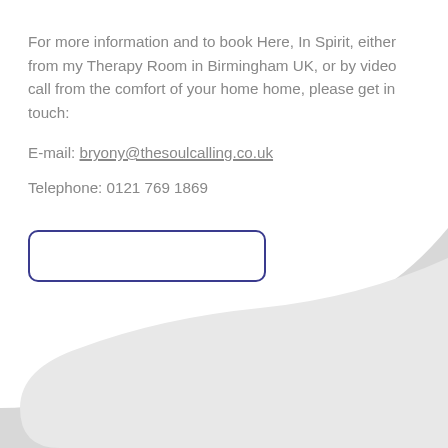For more information and to book Here, In Spirit, either from my Therapy Room in Birmingham UK, or by video call from the comfort of your home home, please get in touch:
E-mail: bryony@thesoulcalling.co.uk
Telephone: 0121 769 1869
[Figure (other): A rounded rectangle button outline with dark navy/indigo border, no text inside]
[Figure (illustration): Decorative light grey curved shape in the bottom right corner of the page, creating a wave or bubble effect against white background]